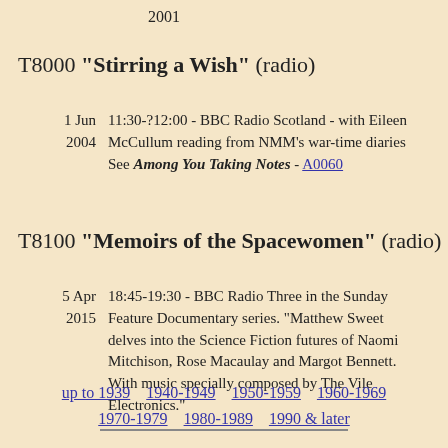2001
T8000 "Stirring a Wish" (radio)
1 Jun 2004   11:30-?12:00 - BBC Radio Scotland - with Eileen McCullum reading from NMM's war-time diaries
See Among You Taking Notes - A0060
T8100 "Memoirs of the Spacewomen" (radio)
5 Apr 2015   18:45-19:30 - BBC Radio Three in the Sunday Feature Documentary series. "Matthew Sweet delves into the Science Fiction futures of Naomi Mitchison, Rose Macaulay and Margot Bennett. With music specially composed by The Vile Electronics."
up to 1939   1940-1949   1950-1959   1960-1969
1970-1979   1980-1989   1990 & later